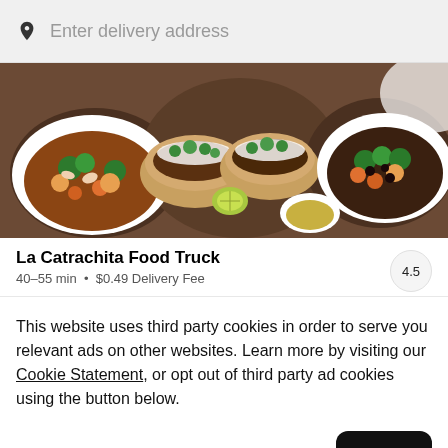Enter delivery address
[Figure (photo): Overhead photo of several plates of Mexican food including tacos with cilantro and lime, bowls of stew with vegetables, and a sauce dish on a wooden table]
La Catrachita Food Truck
40–55 min • $0.49 Delivery Fee
4.5
This website uses third party cookies in order to serve you relevant ads on other websites. Learn more by visiting our Cookie Statement, or opt out of third party ad cookies using the button below.
Opt out
Got it